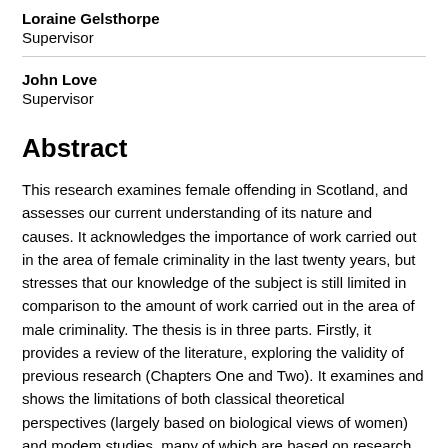Loraine Gelsthorpe
Supervisor
John Love
Supervisor
Abstract
This research examines female offending in Scotland, and assesses our current understanding of its nature and causes. It acknowledges the importance of work carried out in the area of female criminality in the last twenty years, but stresses that our knowledge of the subject is still limited in comparison to the amount of work carried out in the area of male criminality. The thesis is in three parts. Firstly, it provides a review of the literature, exploring the validity of previous research (Chapters One and Two). It examines and shows the limitations of both classical theoretical perspectives (largely based on biological views of women) and modem studies, many of which are based on research on male offenders. It is shown that these theories cannot adequately account for female offending. This part of the